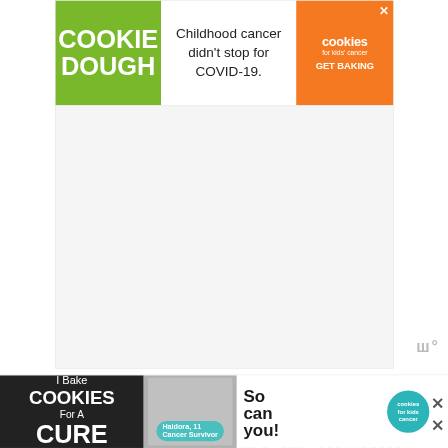[Figure (screenshot): Top advertisement banner: Cookie Dough / Childhood cancer didn't stop for COVID-19. / cookies for kids' cancer GET BAKING]
[Figure (screenshot): Gray advertisement placeholder box with watermark 'w' symbol at bottom right]
Whether you’re planning a group getaway amongst family or friends, you’ll find that this is one of the best Airbnbs in the French Riviera for large groups.
Unique features: Ultra luxury villa in the south of France; swimming pool; amazing
[Figure (screenshot): Bottom advertisement banner: I Bake COOKIES For A CURE / Haidora, 11 Cancer Survivor / So can you! / cookies for kids cancer badge / X close buttons]